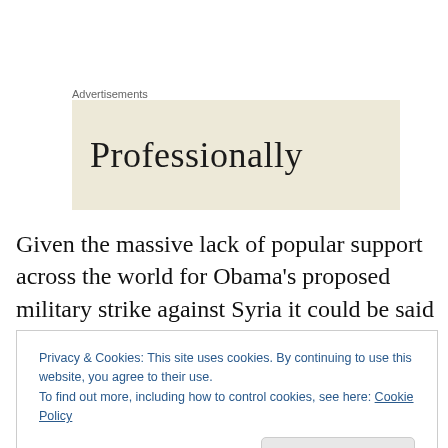Advertisements
[Figure (other): Advertisement banner with beige background and text reading 'Professionally']
Given the massive lack of popular support across the world for Obama’s proposed military strike against Syria it could be said the world has drawn another red line and maybe the President of the United States should beware of stepping over it.
Privacy & Cookies: This site uses cookies. By continuing to use this website, you agree to their use.
To find out more, including how to control cookies, see here: Cookie Policy
[Figure (photo): Partial photo visible at the bottom of the page]